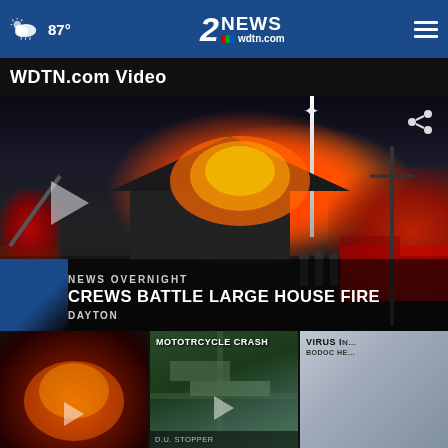87° | 2 NEWS wdtn.com
WDTN.com Video
[Figure (screenshot): Night house fire scene with firefighters and fire trucks battling a large house fire with intense orange flames, labeled NEWS OVERNIGHT - CREWS BATTLE LARGE HOUSE FIRE, DAYTON]
[Figure (screenshot): Fire footage thumbnail - close-up of flames]
[Figure (screenshot): Aerial map/satellite thumbnail labeled MOTOTRCYCLE CRASH]
[Figure (screenshot): Gray thumbnail partially visible labeled VIRUS I... with additional text BODOC HE...]